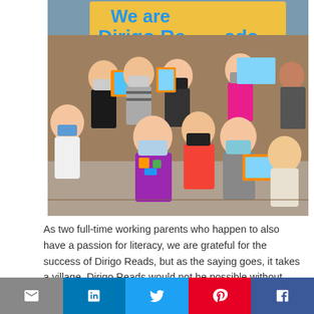[Figure (photo): Group of elementary school children wearing face masks, holding books and booklets in front of a yellow banner that reads 'We are Dirigo Reads readers'. Children of various ages, some crouching, some standing.]
As two full-time working parents who happen to also have a passion for literacy, we are grateful for the success of Dirigo Reads, but as the saying goes, it takes a village. Dirigo Reads would not be possible without incredible partners who are invested in ensuring Maine kids have a successful
Email | LinkedIn | Twitter | Pinterest | Facebook